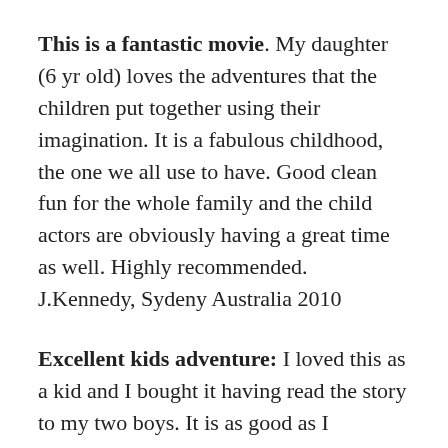This is a fantastic movie. My daughter (6 yr old) loves the adventures that the children put together using their imagination. It is a fabulous childhood, the one we all use to have. Good clean fun for the whole family and the child actors are obviously having a great time as well. Highly recommended. J.Kennedy, Sydeny Australia 2010
Excellent kids adventure: I loved this as a kid and I bought it having read the story to my two boys. It is as good as I remembered it and I was completely amazed that my two boys love it as much as I did, if not more. They watch it again and again ~ Aldous Huxley, 2010